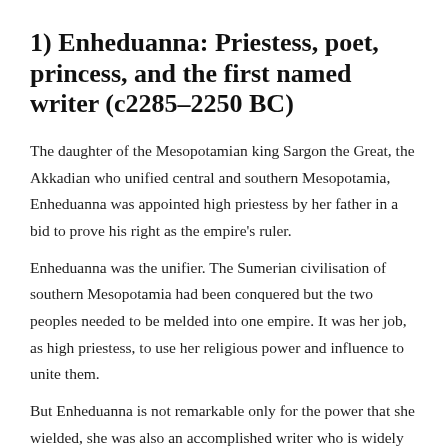1) Enheduanna: Priestess, poet, princess, and the first named writer (c2285–2250 BC)
The daughter of the Mesopotamian king Sargon the Great, the Akkadian who unified central and southern Mesopotamia, Enheduanna was appointed high priestess by her father in a bid to prove his right as the empire's ruler.
Enheduanna was the unifier. The Sumerian civilisation of southern Mesopotamia had been conquered but the two peoples needed to be melded into one empire. It was her job, as high priestess, to use her religious power and influence to unite them.
But Enheduanna is not remarkable only for the power that she wielded, she was also an accomplished writer who is widely